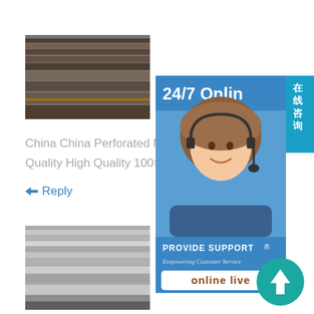[Figure (photo): Stacked steel flat bars or plates, industrial product photo, dark metallic tones]
China China Perforated Metal Tube Price Quality High Quality 100×100 Galvanize
Reply
[Figure (photo): Stacked steel sheets or plates in black and white, industrial product photo]
EN 10025-2 S275J0 high strength structural steel EN 10025-2 S275J0 High Yield Strength Structural
[Figure (photo): Customer service widget showing 24/7 Online support with a woman wearing a headset, PROVIDE SUPPORT Empowering Customer Service, online live button, and Chinese text 在线咨询]